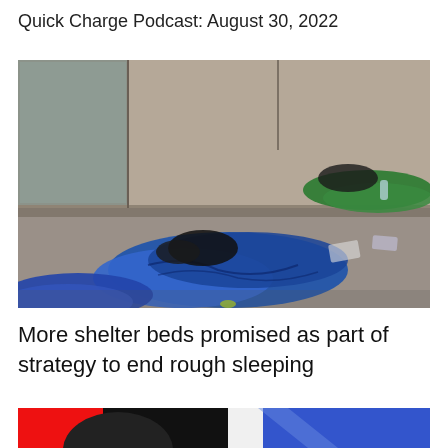Quick Charge Podcast: August 30, 2022
[Figure (photo): People sleeping rough on a pavement beside a building wall, covered in blue and green sleeping bags and blankets, with bags and belongings around them.]
More shelter beds promised as part of strategy to end rough sleeping
[Figure (photo): Partial view of a logo or graphic with red, black, white, and blue sections visible at the bottom of the page.]